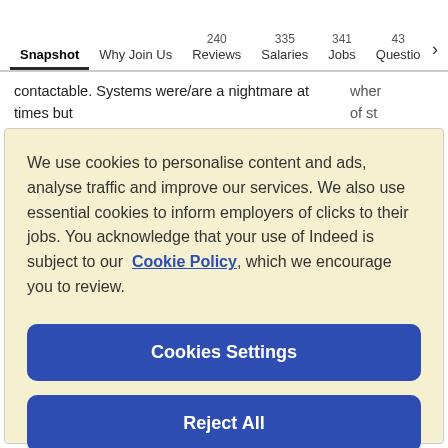Snapshot | Why Join Us | 240 Reviews | 335 Salaries | 341 Jobs | 43 Questions >
contactable. Systems were/are a nightmare at times but with the role out of new systems, this has solved a vast majority of issues. If your store hits targets then your
We use cookies to personalise content and ads, analyse traffic and improve our services. We also use essential cookies to inform employers of clicks to their jobs. You acknowledge that your use of Indeed is subject to our Cookie Policy, which we encourage you to review.
Cookies Settings
Reject All
Accept All Cookies